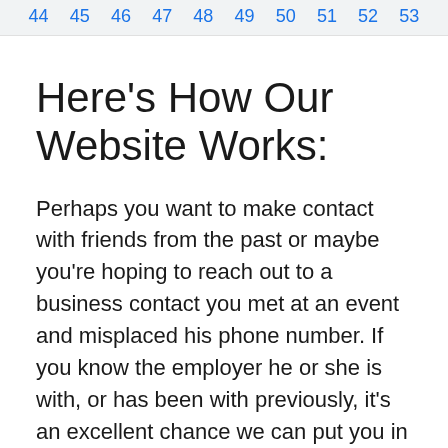44  45  46  47  48  49  50  51  52  53
Here's How Our Website Works:
Perhaps you want to make contact with friends from the past or maybe you're hoping to reach out to a business contact you met at an event and misplaced his phone number. If you know the employer he or she is with, or has been with previously, it's an excellent chance we can put you in touch!